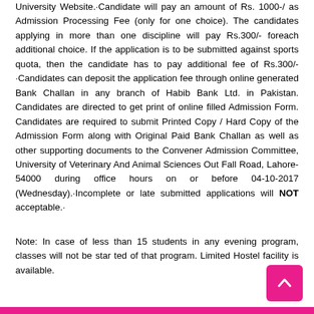University Website. Candidate will pay an amount of Rs. 1000-/ as Admission Processing Fee (only for one choice). The candidates applying in more than one discipline will pay Rs.300/- foreach additional choice. If the application is to be submitted against sports quota, then the candidate has to pay additional fee of Rs.300/- Candidates can deposit the application fee through online generated Bank Challan in any branch of Habib Bank Ltd. in Pakistan. Candidates are directed to get print of online filled Admission Form. Candidates are required to submit Printed Copy / Hard Copy of the Admission Form along with Original Paid Bank Challan as well as other supporting documents to the Convener Admission Committee, University of Veterinary And Animal Sciences Out Fall Road, Lahore-54000 during office hours on or before 04-10-2017 (Wednesday). Incomplete or late submitted applications will NOT acceptable.
Note: In case of less than 15 students in any evening program, classes will not be star ted of that program. Limited Hostel facility is available.